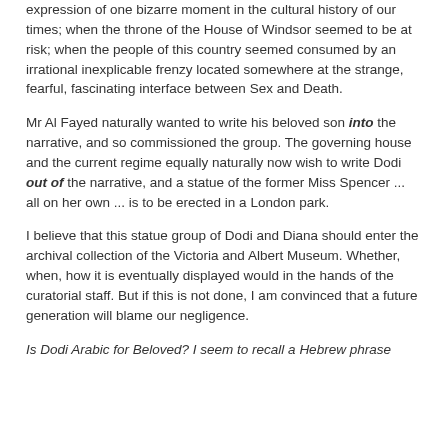expression of one bizarre moment in the cultural history of our times; when the throne of the House of Windsor seemed to be at risk; when the people of this country seemed consumed by an irrational inexplicable frenzy located somewhere at the strange, fearful, fascinating interface between Sex and Death.
Mr Al Fayed naturally wanted to write his beloved son into the narrative, and so commissioned the group. The governing house and the current regime equally naturally now wish to write Dodi out of the narrative, and a statue of the former Miss Spencer ... all on her own ... is to be erected in a London park.
I believe that this statue group of Dodi and Diana should enter the archival collection of the Victoria and Albert Museum. Whether, when, how it is eventually displayed would in the hands of the curatorial staff. But if this is not done, I am convinced that a future generation will blame our negligence.
Is Dodi Arabic for Beloved? I seem to recall a Hebrew phrase